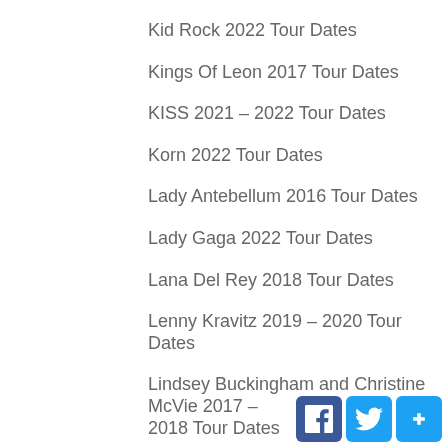Kid Rock 2022 Tour Dates
Kings Of Leon 2017 Tour Dates
KISS 2021 – 2022 Tour Dates
Korn 2022 Tour Dates
Lady Antebellum 2016 Tour Dates
Lady Gaga 2022 Tour Dates
Lana Del Rey 2018 Tour Dates
Lenny Kravitz 2019 – 2020 Tour Dates
Lindsey Buckingham and Christine McVie 2017 – 2018 Tour Dates
Lindsey Stirling 2018 – 2019 Tour Dates
Linkin Park 2017 – 2018 Tour Dates
Lorde 2018 Tour Dates
Los Temerarios 2018 – 2019 Tour Dates
Luis Miguel 2016 Tour Dates